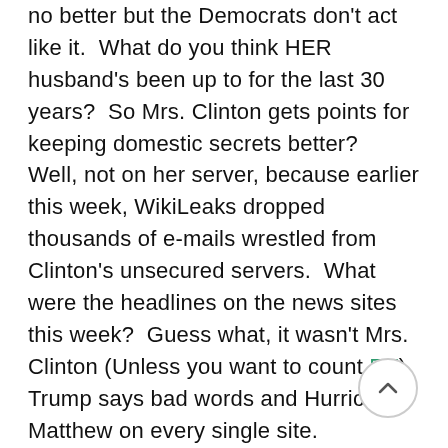no better but the Democrats don't act like it.  What do you think HER husband's been up to for the last 30 years?  So Mrs. Clinton gets points for keeping domestic secrets better?  Well, not on her server, because earlier this week, WikiLeaks dropped thousands of e-mails wrestled from Clinton's unsecured servers.  What were the headlines on the news sites this week?  Guess what, it wasn't Mrs. Clinton (Unless you want to count RT) Trump says bad words and Hurricane Matthew on every single site.
"I don't need the news to tell me what to think, I'm gonna go to WikiLeaks myself and see what all the fuss is about," I thought to myself.  WikiLeaks has lo of information.  Boring, boring,